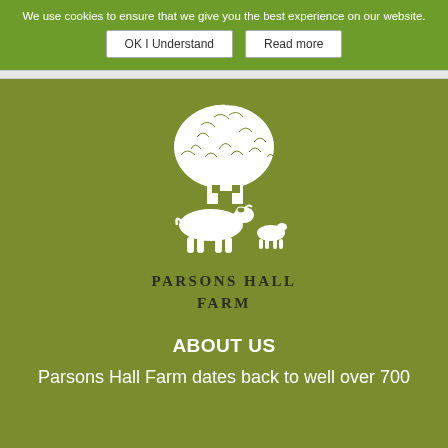We use cookies to ensure that we give you the best experience on our website.
OK I Understand
Read more
[Figure (logo): Parsons Hall Farm logo: white silhouette of a cow, a small sheep/calf, a barn/shed structure, and a large leafy tree above, all on an olive-green background, with text PARSONS HALL FARM below]
PARSONS HALL FARM
ABOUT US
Parsons Hall Farm dates back to well over 700